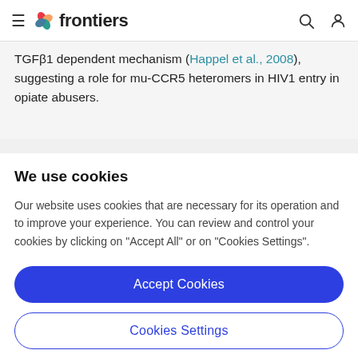frontiers
TGFβ1 dependent mechanism (Happel et al., 2008), suggesting a role for mu-CCR5 heteromers in HIV1 entry in opiate abusers.
We use cookies
Our website uses cookies that are necessary for its operation and to improve your experience. You can review and control your cookies by clicking on "Accept All" or on "Cookies Settings".
Accept Cookies
Cookies Settings